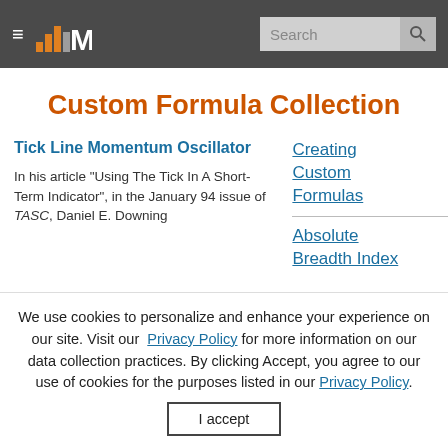≡ M [logo] Search [search button]
Custom Formula Collection
Tick Line Momentum Oscillator
In his article "Using The Tick In A Short-Term Indicator", in the January 94 issue of TASC, Daniel E. Downing
Creating Custom Formulas
Absolute Breadth Index
We use cookies to personalize and enhance your experience on our site. Visit our Privacy Policy for more information on our data collection practices. By clicking Accept, you agree to our use of cookies for the purposes listed in our Privacy Policy.
I accept